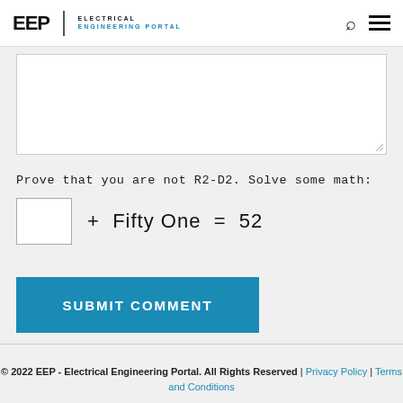EEP | ELECTRICAL ENGINEERING PORTAL
Prove that you are not R2-D2. Solve some math:
SUBMIT COMMENT
© 2022 EEP - Electrical Engineering Portal. All Rights Reserved | Privacy Policy | Terms and Conditions